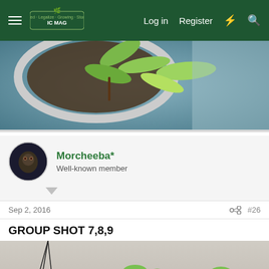IC Mag forum navigation bar with Log in, Register, and search icons
[Figure (photo): Close-up photo of young cannabis plant in a blue/grey pot with soil, green leaves visible from above]
Morcheeba*
Well-known member
Sep 2, 2016    #26
GROUP SHOT 7,8,9
[Figure (photo): Photo of cannabis seedlings/young plants under grow lights against a light grey background, with two pendant light fixtures visible]